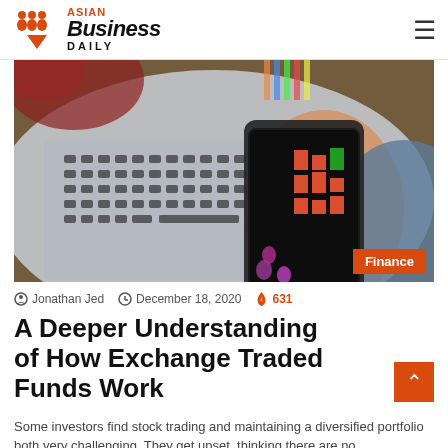Asian Business Daily
[Figure (photo): A woman's hand holding a smartphone displaying stock trading data, with a MacBook laptop in the background on a wooden desk. A 'Finance' badge overlays the bottom-right corner.]
Jonathan Jed  December 18, 2020  631
A Deeper Understanding of How Exchange Traded Funds Work
Some investors find stock trading and maintaining a diversified portfolio both very challenging. They get upset, thinking there are no...